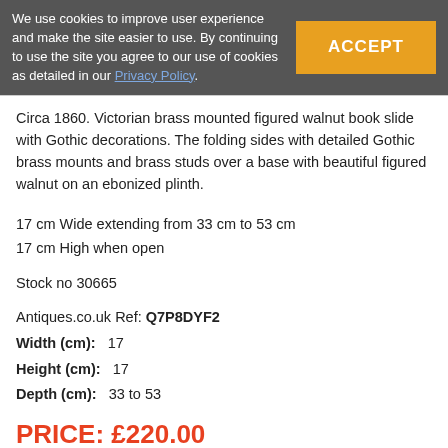We use cookies to improve user experience and make the site easier to use. By continuing to use the site you agree to our use of cookies as detailed in our Privacy Policy.
ACCEPT
Circa 1860. Victorian brass mounted figured walnut book slide with Gothic decorations. The folding sides with detailed Gothic brass mounts and brass studs over a base with beautiful figured walnut on an ebonized plinth.
17 cm Wide extending from 33 cm to 53 cm
17 cm High when open
Stock no 30665
Antiques.co.uk Ref: Q7P8DYF2
Width (cm): 17
Height (cm): 17
Depth (cm): 33 to 53
PRICE: £220.00
Please note that this price may NOT include delivery charges which the seller